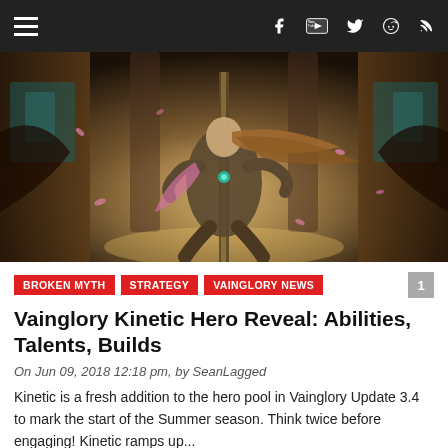Navigation bar with hamburger menu and social icons (Facebook, YouTube, Twitter, Reddit, RSS)
[Figure (illustration): Vainglory Kinetic hero character art — a female fighter in armor holding a staff, crouching in a fantasy temple environment with pink petals floating around]
BROKEN MYTH   STRATEGY   VAINGLORY NEWS   1
Vainglory Kinetic Hero Reveal: Abilities, Talents, Builds
On Jun 09, 2018 12:18 pm, by SeanLagged
Kinetic is a fresh addition to the hero pool in Vainglory Update 3.4 to mark the start of the Summer season. Think twice before engaging! Kinetic ramps up...